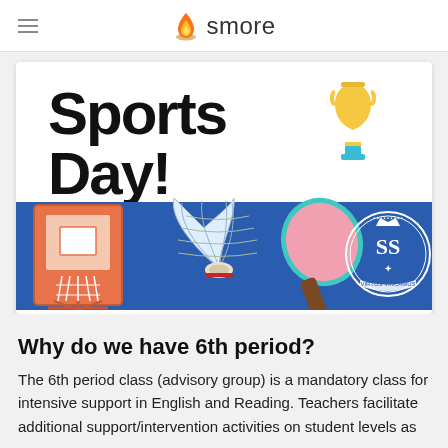smore
[Figure (illustration): Sports Day banner with bold black text 'Sports Day!' on white background, a gold trophy icon on the right, and a blue strip below featuring a basketball hoop, badminton shuttlecock, ping pong paddle, and a school crest/seal.]
Why do we have 6th period?
The 6th period class (advisory group) is a mandatory class for intensive support in English and Reading. Teachers facilitate additional support/intervention activities on student levels as